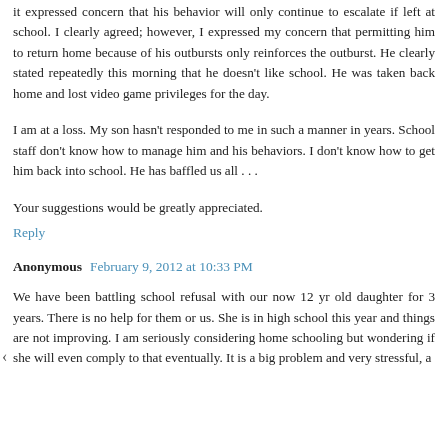it expressed concern that his behavior will only continue to escalate if left at school. I clearly agreed; however, I expressed my concern that permitting him to return home because of his outbursts only reinforces the outburst. He clearly stated repeatedly this morning that he doesn't like school. He was taken back home and lost video game privileges for the day.
I am at a loss. My son hasn't responded to me in such a manner in years. School staff don't know how to manage him and his behaviors. I don't know how to get him back into school. He has baffled us all . . .
Your suggestions would be greatly appreciated.
Reply
Anonymous  February 9, 2012 at 10:33 PM
We have been battling school refusal with our now 12 yr old daughter for 3 years. There is no help for them or us. She is in high school this year and things are not improving. I am seriously considering home schooling but wondering if she will even comply to that eventually. It is a big problem and very stressful, a